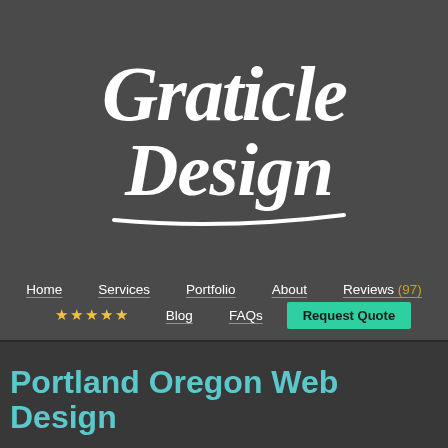[Figure (logo): Graticle Design logo in white brush/script lettering on dark gray background]
Home   Services   Portfolio   About   Reviews (97)
★★★★★   Blog   FAQs   Request Quote
Portland Oregon Web Design